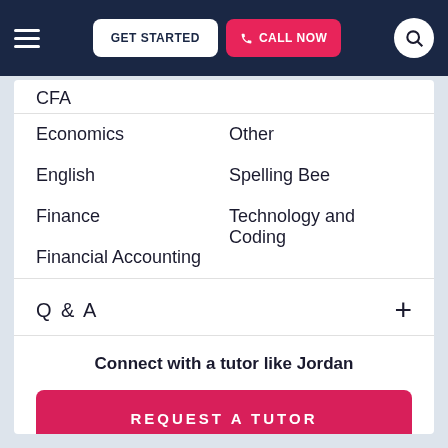GET STARTED | CALL NOW
CFA
Economics
English
Finance
Financial Accounting
Other
Spelling Bee
Technology and Coding
Q & A
Connect with a tutor like Jordan
REQUEST A TUTOR